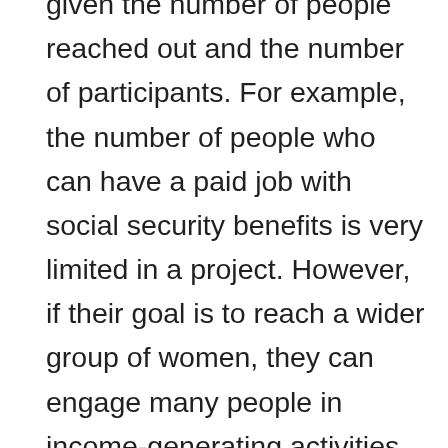given the number of people reached out and the number of participants. For example, the number of people who can have a paid job with social security benefits is very limited in a project. However, if their goal is to reach a wider group of women, they can engage many people in income-generating activities. Similarly, although microcredits have become widespread thanks to the propaganda of “entrepreneur woman who sets up her own business”, the number of women who open their own business with the microcredit is very low. One of the critical issues here is that the work of women earning income within such mechanisms is not considered to be an economic activity. Because, both microcredit programs and some NGO activities are implemented with normative concepts such as “social empowerment”. The products that women produce at home or in workshops and that are sometimes supplied to national and international markets through intermediaries and sold at high prices are